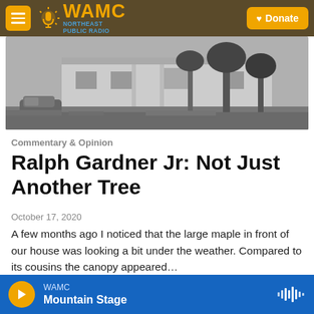WAMC NORTHEAST PUBLIC RADIO | Donate
[Figure (photo): Black and white historical photograph of a house exterior with trees and an old automobile parked in front]
Commentary & Opinion
Ralph Gardner Jr: Not Just Another Tree
October 17, 2020
A few months ago I noticed that the large maple in front of our house was looking a bit under the weather. Compared to its cousins the canopy appeared…
WAMC Mountain Stage